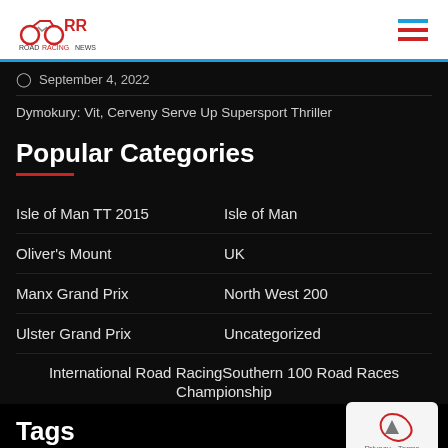Road Racing News
September 4, 2022
Dymokury: Vit, Cerveny Serve Up Supersport Thriller
Popular Categories
Isle of Man TT 2015
Isle of Man
Oliver's Mount
UK
Manx Grand Prix
North West 200
Ulster Grand Prix
Uncategorized
International Road Racing Championship
Southern 100 Road Races
Tags